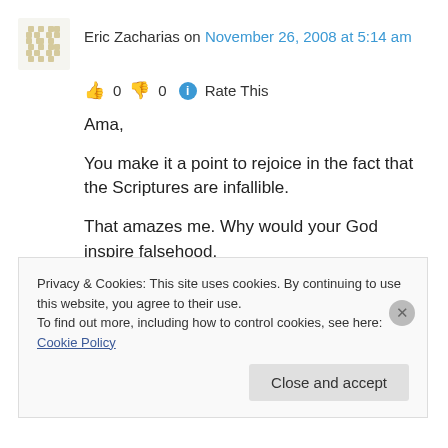Eric Zacharias on November 26, 2008 at 5:14 am
👍 0 👎 0 ℹ Rate This
Ama,
You make it a point to rejoice in the fact that the Scriptures are infallible.
That amazes me. Why would your God inspire falsehood.
The only conclusion is that you have no problem
Privacy & Cookies: This site uses cookies. By continuing to use this website, you agree to their use.
To find out more, including how to control cookies, see here: Cookie Policy